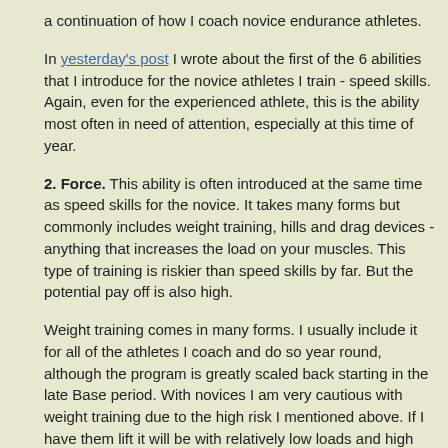a continuation of how I coach novice endurance athletes.
In yesterday's post I wrote about the first of the 6 abilities that I introduce for the novice athletes I train - speed skills. Again, even for the experienced athlete, this is the ability most often in need of attention, especially at this time of year.
2. Force. This ability is often introduced at the same time as speed skills for the novice. It takes many forms but commonly includes weight training, hills and drag devices - anything that increases the load on your muscles. This type of training is riskier than speed skills by far. But the potential pay off is also high.
Weight training comes in many forms. I usually include it for all of the athletes I coach and do so year round, although the program is greatly scaled back starting in the late Base period. With novices I am very cautious with weight training due to the high risk I mentioned above. If I have them lift it will be with relatively low loads and high reps - generally no less than about 10 reps. They often do exercises with a bar only or even just their body weight. The emphasis is on technique. Weight training is very controversial among endurance coaches. Some, like me, strongly support it. Others believe it is detrimental and, at best, not beneficial. I'm not going to get in this aspect of the topic now. Perhaps at another time.